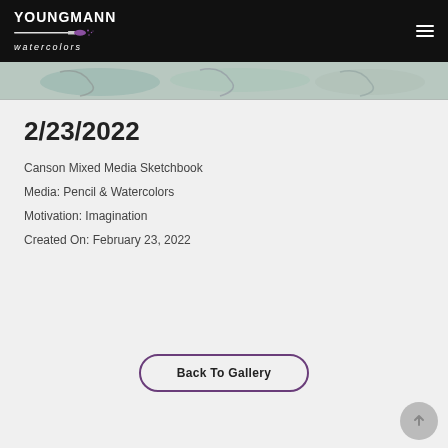YOUNGMANN watercolors
[Figure (illustration): Partial view of watercolor artwork images in a strip]
2/23/2022
Canson Mixed Media Sketchbook
Media: Pencil & Watercolors
Motivation: Imagination
Created On: February 23, 2022
Back To Gallery